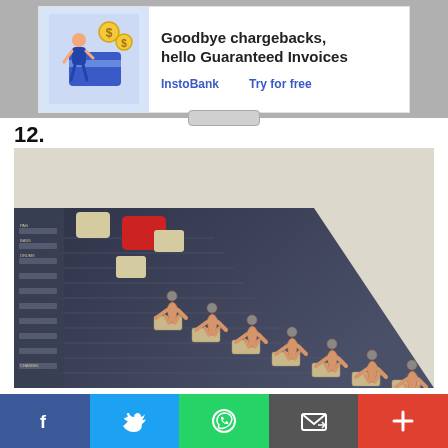[Figure (infographic): Advertisement banner: illustration of person with dollar coins and a credit card on blue background, with text 'Goodbye chargebacks, hello Guaranteed Invoices', links 'InstoBank' and 'Try for free']
12.
[Figure (photo): Photo of miniature swimmer figurines in starting position crouched on fader knobs of an audio mixing board/console. The swimmers are arranged diagonally across the faders. The mixing board is dark navy blue with beige/tan buttons and fader controls.]
f  [Twitter bird]  [WhatsApp]  [Email]  +